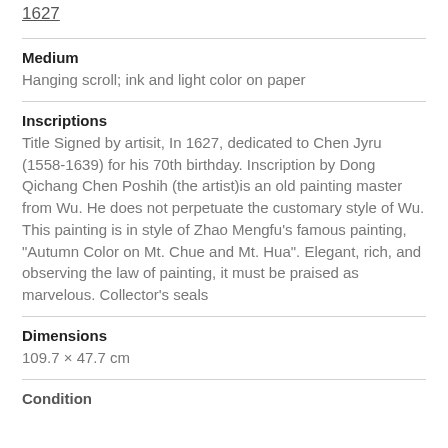1627
Medium
Hanging scroll; ink and light color on paper
Inscriptions
Title Signed by artisit, In 1627, dedicated to Chen Jyru (1558-1639) for his 70th birthday. Inscription by Dong Qichang Chen Poshih (the artist)is an old painting master from Wu. He does not perpetuate the customary style of Wu. This painting is in style of Zhao Mengfu's famous painting, "Autumn Color on Mt. Chue and Mt. Hua". Elegant, rich, and observing the law of painting, it must be praised as marvelous. Collector's seals
Dimensions
109.7 × 47.7 cm
Condition